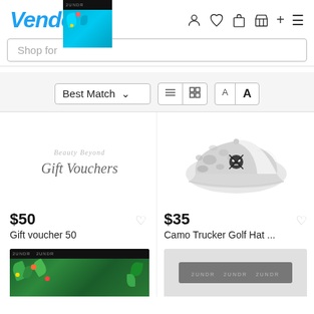Vendo
Shop for
Best Match
[Figure (screenshot): Gift Vouchers product image with Beauty Beyond branding]
$50
Gift voucher 50
[Figure (photo): Camo Trucker Golf Hat with skull logo on white/grey camouflage pattern]
$35
Camo Trucker Golf Hat ...
[Figure (photo): 2UNDR floral print boxer briefs, partial image at bottom of page]
[Figure (photo): 2UNDR product partial image at bottom right of page]